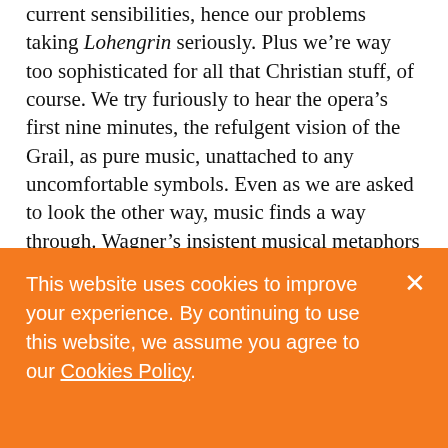current sensibilities, hence our problems taking Lohengrin seriously. Plus we're way too sophisticated for all that Christian stuff, of course. We try furiously to hear the opera's first nine minutes, the refulgent vision of the Grail, as pure music, unattached to any uncomfortable symbols. Even as we are asked to look the other way, music finds a way through. Wagner's insistent musical metaphors — about that troublesome Grail, and the equally fraught mythical matter of the forbidden
This website uses cookies to improve your experience. By continuing to use this website, we assume you agree to our Cookies Policy.